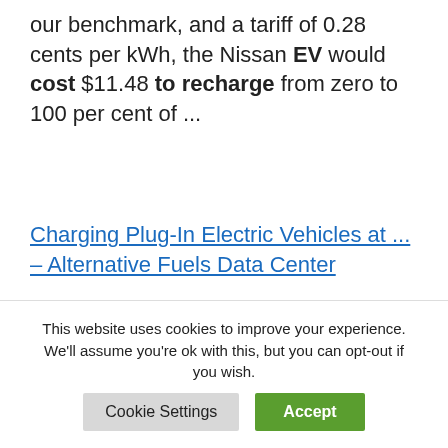our benchmark, and a tariff of 0.28 cents per kWh, the Nissan EV would cost $11.48 to recharge from zero to 100 per cent of ...
Charging Plug-In Electric Vehicles at ... – Alternative Fuels Data Center
If electricity costs $0.13 per kilowatt-hour, charging an EV with a 200-mile range (assuming a fully depleted 66 kWh battery) will cost about $9 to
This website uses cookies to improve your experience. We'll assume you're ok with this, but you can opt-out if you wish.